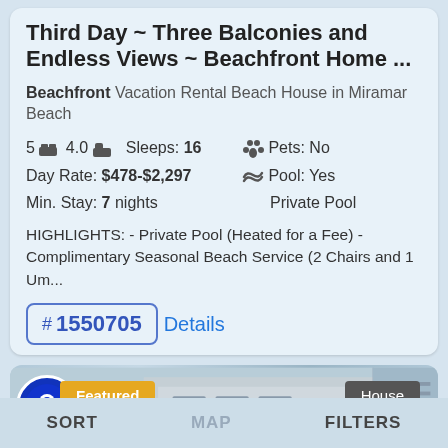Third Day ~ Three Balconies and Endless Views ~ Beachfront Home ...
Beachfront Vacation Rental Beach House in Miramar Beach
5 bed 4.0 bath  Sleeps: 16   Pets: No
Day Rate: $478-$2,297   Pool: Yes
Min. Stay: 7 nights   Private Pool
HIGHLIGHTS: - Private Pool (Heated for a Fee) - Complimentary Seasonal Beach Service (2 Chairs and 1 Um...
# 1550705 Details
[Figure (screenshot): Bottom section showing a featured house listing card with Featured and House badges, a logo circle, and a navigation bar with SORT, MAP, FILTERS buttons]